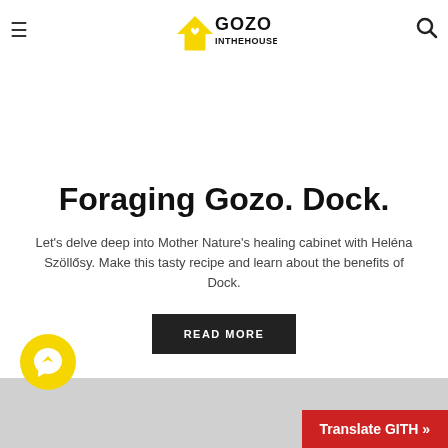GOZO INTHEHOUSE
Foraging Gozo. Dock.
Let's delve deep into Mother Nature's healing cabinet with Heléna Szöllősy. Make this tasty recipe and learn about the benefits of Dock.
READ MORE
[Figure (logo): Yellow Messenger chat bubble icon button]
Translate GITH »